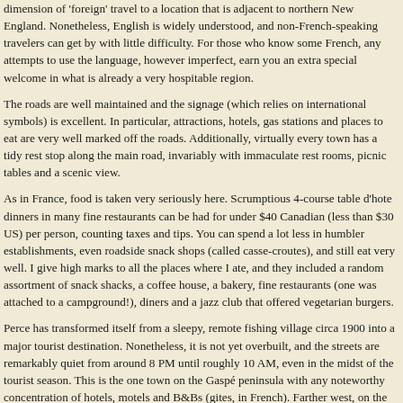dimension of 'foreign' travel to a location that is adjacent to northern New England. Nonetheless, English is widely understood, and non-French-speaking travelers can get by with little difficulty. For those who know some French, any attempts to use the language, however imperfect, earn you an extra special welcome in what is already a very hospitable region.
The roads are well maintained and the signage (which relies on international symbols) is excellent. In particular, attractions, hotels, gas stations and places to eat are very well marked off the roads. Additionally, virtually every town has a tidy rest stop along the main road, invariably with immaculate rest rooms, picnic tables and a scenic view.
As in France, food is taken very seriously here. Scrumptious 4-course table d'hote dinners in many fine restaurants can be had for under $40 Canadian (less than $30 US) per person, counting taxes and tips. You can spend a lot less in humbler establishments, even roadside snack shops (called casse-croutes), and still eat very well. I give high marks to all the places where I ate, and they included a random assortment of snack shacks, a coffee house, a bakery, fine restaurants (one was attached to a campground!), diners and a jazz club that offered vegetarian burgers.
Perce has transformed itself from a sleepy, remote fishing village circa 1900 into a major tourist destination. Nonetheless, it is not yet overbuilt, and the streets are remarkably quiet from around 8 PM until roughly 10 AM, even in the midst of the tourist season. This is the one town on the Gaspé peninsula with any noteworthy concentration of hotels, motels and B&Bs (gites, in French). Farther west, on the south shore of the St. Lawrence River, the cities of Riviere-du-Loup and Rimouski have a number of places to stay, but these are not prime destinations for vacations, but handy overnight stops instead.